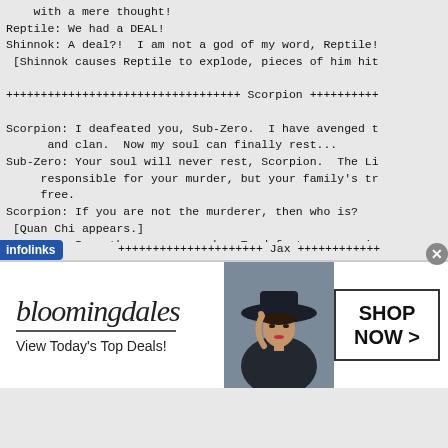with a mere thought!
Reptile: We had a DEAL!
Shinnok: A deal?!  I am not a god of my word, Reptile!
 [Shinnok causes Reptile to explode, pieces of him hit

++++++++++++++++++++++++++++++++++ Scorpion ++++++++++

Scorpion: I deafeated you, Sub-Zero.  I have avenged t
      and clan.  Now my soul can finally rest...
Sub-Zero: Your soul will never rest, Scorpion.  The Li
     responsible for your murder, but your family's tr
     free.
Scorpion: If you are not the murderer, then who is?
 [Quan Chi appears.]
Quan Chi: I am the one you seek.  To defeat my nemesis
     the power of a specter.  You've done my bidding w
     I must return you to the Netherealm.
 [Quan Chi opens a portal into the Netherealm.]
Scorpion: NEVER!
 [Scorpion takes Quan Chi with him.]
Quan Chi: NO!!!
[Figure (advertisement): Bloomingdale's advertisement: logo, 'View Today's Top Deals!', image of woman with wide-brim hat, 'SHOP NOW >' button. Infolinks label overlay.]
++++++++++++++++++++++++++++++++++ Jax ++++++++++++++